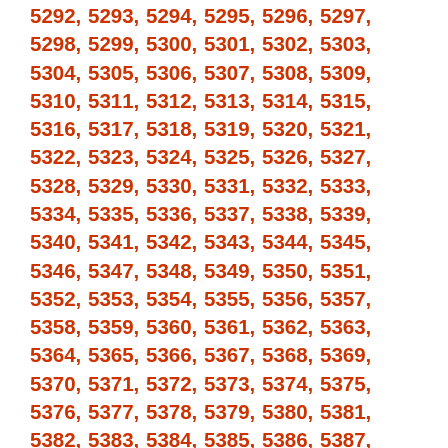5292, 5293, 5294, 5295, 5296, 5297, 5298, 5299, 5300, 5301, 5302, 5303, 5304, 5305, 5306, 5307, 5308, 5309, 5310, 5311, 5312, 5313, 5314, 5315, 5316, 5317, 5318, 5319, 5320, 5321, 5322, 5323, 5324, 5325, 5326, 5327, 5328, 5329, 5330, 5331, 5332, 5333, 5334, 5335, 5336, 5337, 5338, 5339, 5340, 5341, 5342, 5343, 5344, 5345, 5346, 5347, 5348, 5349, 5350, 5351, 5352, 5353, 5354, 5355, 5356, 5357, 5358, 5359, 5360, 5361, 5362, 5363, 5364, 5365, 5366, 5367, 5368, 5369, 5370, 5371, 5372, 5373, 5374, 5375, 5376, 5377, 5378, 5379, 5380, 5381, 5382, 5383, 5384, 5385, 5386, 5387, 5388, 5389, 5390, 5391, 5392, 5393, 5394, 5395, 5396, 5397, 5398, 5399, 5400, 5401, 5402, 5403, 5404, 5405, 5406, 5407, 5408, 5409, 5410, 5411, 5412, 5413, 5414, 5415, 5416, 5417, 5418, 5419, 5420, 5421, 5422, 5423, 5424, 5425, 5426, 5427, 5428, 5429, 5430, 5431, 5432, 5433, 5434, 5435, 5436, 5437, 5438, 5439, 5440, 5441, 5442, 5443, 5444,